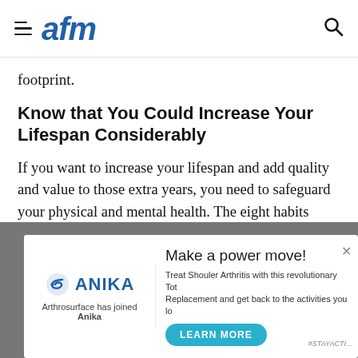afm
footprint.
Know that You Could Increase Your Lifespan Considerably
If you want to increase your lifespan and add quality and value to those extra years, you need to safeguard your physical and mental health. The eight habits above can help you live longer and get the most out of each day.
[Figure (other): Advertisement banner for Anika (Arthrosurface has joined Anika). Text reads: Make a power move! Treat Shouler Arthritis with this revolutionary Total Replacement and get back to the activities you love. #STAYACTIVE. Learn More button.]